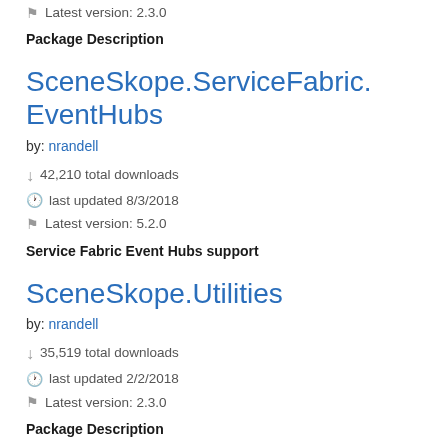Latest version: 2.3.0
Package Description
SceneSkope.ServiceFabric.EventHubs
by: nrandell
42,210 total downloads
last updated 8/3/2018
Latest version: 5.2.0
Service Fabric Event Hubs support
SceneSkope.Utilities
by: nrandell
35,519 total downloads
last updated 2/2/2018
Latest version: 2.3.0
Package Description